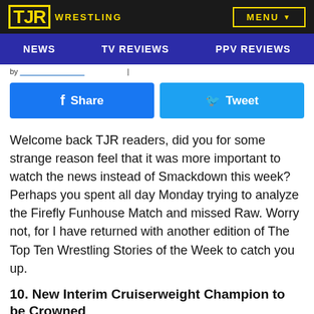TJR WRESTLING | MENU
NEWS | TV REVIEWS | PPV REVIEWS
by [link]
[Figure (other): Facebook Share button and Twitter Tweet button]
Welcome back TJR readers, did you for some strange reason feel that it was more important to watch the news instead of Smackdown this week? Perhaps you spent all day Monday trying to analyze the Firefly Funhouse Match and missed Raw. Worry not, for I have returned with another edition of The Top Ten Wrestling Stories of the Week to catch you up.
10. New Interim Cruiserweight Champion to be Crowned
The health crisis caused even more havoc to the